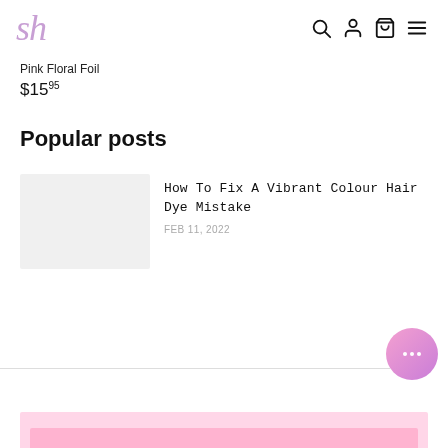sh [logo] with search, account, cart, menu icons
Pink Floral Foil
$15.95
Popular posts
How To Fix A Vibrant Colour Hair Dye Mistake
FEB 11, 2022